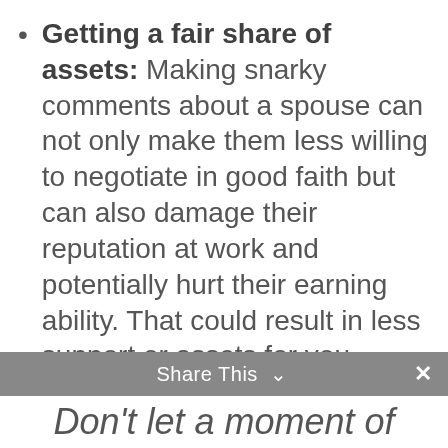Getting a fair share of assets: Making snarky comments about a spouse can not only make them less willing to negotiate in good faith but can also damage their reputation at work and potentially hurt their earning ability. That could result in less support or assets for you.
Lowering stress levels: Working with your spouse to find a favorable outcome for both parties is not only easier for everyone emotionally and financially, but it also sets a constructive tone for your life after divorce, especially for a positive co-parenting plan.
Share This ∨  ✕
Don't let a moment of